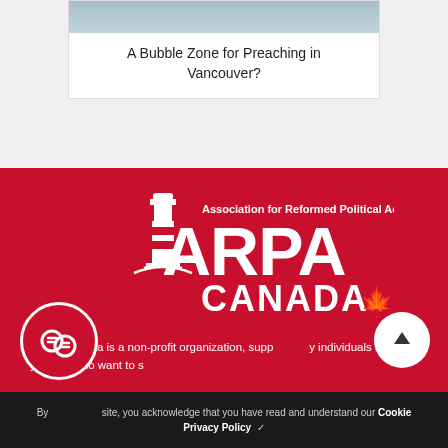[Figure (photo): Top of a card with a photo of a person outdoors, partially cropped at the top]
A Bubble Zone for Preaching in Vancouver?
[Figure (logo): ARPA Canada logo — white lighthouse icon with 'Association for Reformed Political Action' text above large 'ARPA CANADA' text with maple leaf, on red background]
ARPA Canada is a non-profit organization, supp[orted b]y individuals like yourself who want to s[upport]
[Figure (other): Red circular chat bubble icon overlay]
[Figure (other): White circular scroll-to-top arrow button]
By [using this] site, you acknowledge that you have read and understand our Cookie Privacy Policy ✓